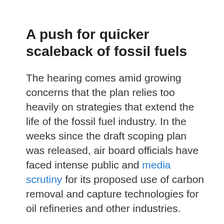A push for quicker scaleback of fossil fuels
The hearing comes amid growing concerns that the plan relies too heavily on strategies that extend the life of the fossil fuel industry. In the weeks since the draft scoping plan was released, air board officials have faced intense public and media scrutiny for its proposed use of carbon removal and capture technologies for oil refineries and other industries.
In their initial modeling included in the plan, air board officials said the use of carbon capture technologies were already